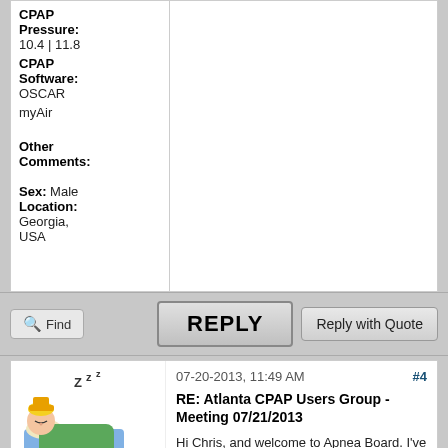CPAP Pressure: 10.4 | 11.8
CPAP Software: OSCAR myAir
Other Comments:
Sex: Male
Location: Georgia, USA
Find
REPLY
Reply with Quote
07-20-2013, 11:49 AM
#4
RE: Atlanta CPAP Users Group - Meeting 07/21/2013
Hi Chris, and welcome to Apnea Board. I've enjoyed your ResScan video and I know a lot of folks have benefited from the advice you've given
SuperS